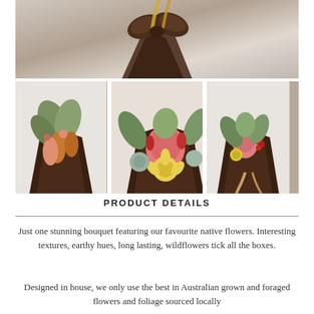[Figure (photo): Top portion of a flower bouquet wrapped in dark brown paper with a yellow/gold ribbon bow, against a white/grey background.]
[Figure (photo): Three side-by-side photos of native Australian wildflower bouquets wrapped in dark brown paper, featuring banksia, protea, succulents, and foliage with earthy hues.]
PRODUCT DETAILS
Just one stunning bouquet featuring our favourite native flowers. Interesting textures, earthy hues, long lasting, wildflowers tick all the boxes.
Designed in house, we only use the best in Australian grown and foraged flowers and foliage sourced locally